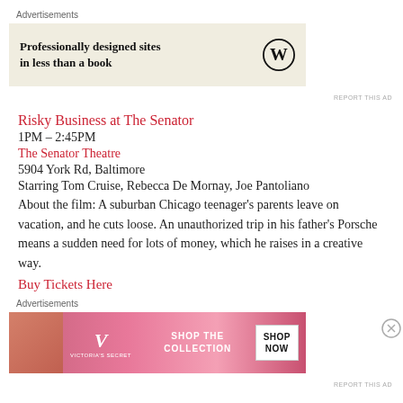Advertisements
[Figure (infographic): WordPress advertisement banner: 'Professionally designed sites in less than a week' with WordPress logo]
REPORT THIS AD
Risky Business at The Senator
1PM – 2:45PM
The Senator Theatre
5904 York Rd, Baltimore
Starring Tom Cruise, Rebecca De Mornay, Joe Pantoliano
About the film: A suburban Chicago teenager's parents leave on vacation, and he cuts loose. An unauthorized trip in his father's Porsche means a sudden need for lots of money, which he raises in a creative way.
Buy Tickets Here
Advertisements
[Figure (infographic): Victoria's Secret advertisement: woman with curly hair, VS logo, 'SHOP THE COLLECTION', 'SHOP NOW' button on pink background]
REPORT THIS AD